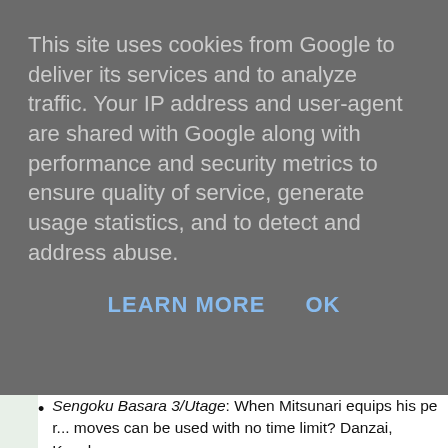This site uses cookies from Google to deliver its services and to analyze traffic. Your IP address and user-agent are shared with Google along with performance and security metrics to ensure quality of service, generate usage statistics, and to detect and address abuse.
LEARN MORE    OK
Sengoku Basara 3/Utage: When Mitsunari equips his per... moves can be used with no time limit? Danzai, Kyoukou,
Sengoku Basara 4/Sumeragi: Which of these is the corre... unleashes a Basara move when Maximum Style status is... presented as a listening problem so the candidates heard... were all similar except for a change in whether Yukimura... blooded Eruption!', 'Burn, spears; roar, blazing explosion!
(The answers to the questions were Bishamonten, bonds, lightn... the third dialogue option, but I'm sure a lot of readers knew tha...
The Premium Bandai Sanada Yukimura Jacket will be avail...
If you have money to spare and want an unusual Yukimura-rela...